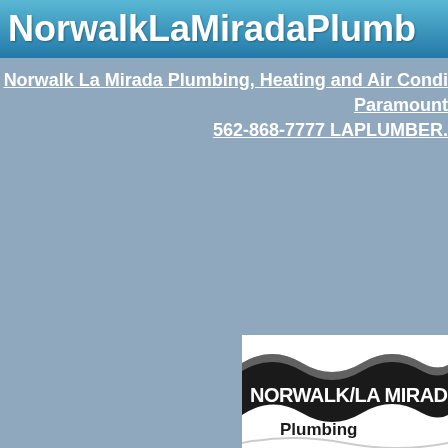NorwalkLaMiradaPlumb
Norwalk La Mirada Plumbing, Heating and Air Conditioning Paramount 562-868-7777 LAPLUMBER.
[Figure (logo): Norwalk/La Mirada Plumbing, Heating & Air Conditioning logo with wave design]
To receive valuable coupons by m
Name *
Email *